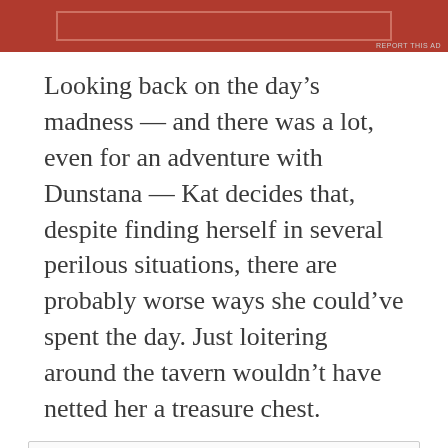[Figure (other): Red advertisement banner at top with rectangular outline border]
Looking back on the day’s madness — and there was a lot, even for an adventure with Dunstana — Kat decides that, despite finding herself in several perilous situations, there are probably worse ways she could’ve spent the day. Just loitering around the tavern wouldn’t have netted her a treasure chest.
Privacy & Cookies: This site uses cookies. By continuing to use this website, you agree to their use.
To find out more, including how to control cookies, see here: Cookie Policy
Close and accept